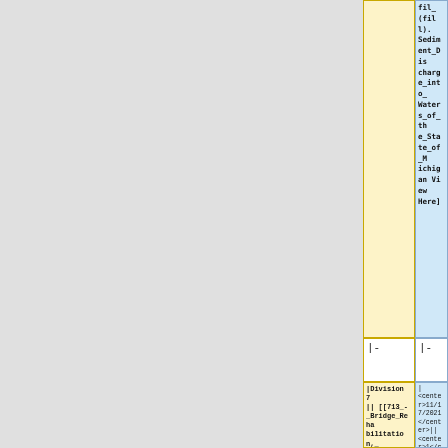fil_(fill).Sediment_Discharge_into_Waters_of_the_State_of_Michigan View Here]
|-
|-
|Division 7 || [[713_-_Bridge_Rehabilitation,_Steel| <center>713</center>]] || Complete re-write compared to the 2003 Construction Manual
| <center>11/17/2021</center>|| <center>1</center>|| <center>[[103.02_Contract_Revisions#Design_Errors|103.02]]</center>||A